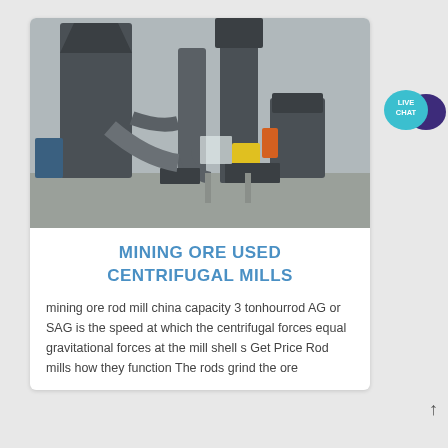[Figure (photo): Industrial centrifugal mill equipment — large grey cylindrical towers, pipes, ducting, and machinery at a mining/industrial site outdoors.]
MINING ORE USED CENTRIFUGAL MILLS
mining ore rod mill china capacity 3 tonhourrod AG or SAG is the speed at which the centrifugal forces equal gravitational forces at the mill shell s Get Price Rod mills how they function The rods grind the ore